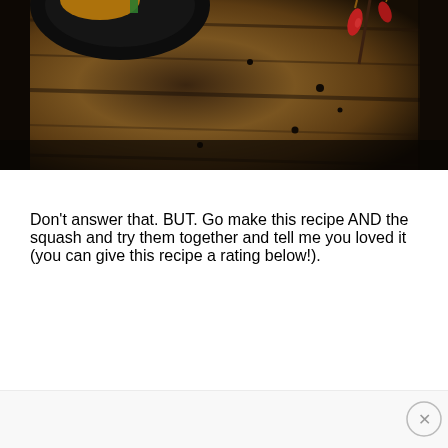[Figure (photo): A dark food photography image showing a dish on a dark plate against a rustic wooden background with red peppers and wooden chopstick or skewer scattered around]
Don't answer that. BUT. Go make this recipe AND the squash and try them together and tell me you loved it (you can give this recipe a rating below!).